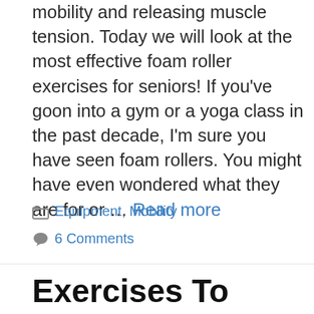mobility and releasing muscle tension. Today we will look at the most effective foam roller exercises for seniors! If you've goon into a gym or a yoga class in the past decade, I'm sure you have seen foam rollers. You might have even wondered what they are for or … Read more
Equipment, Mobility
6 Comments
Exercises To Improve